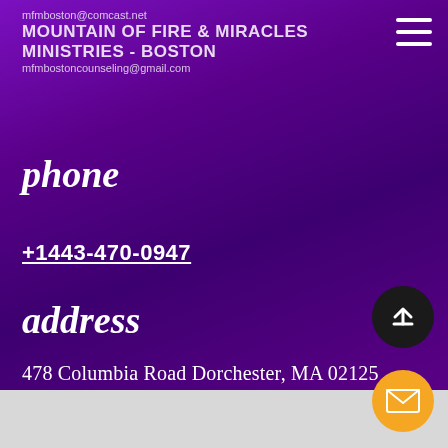mfmboston@comcast.net MOUNTAIN OF FIRE & MIRACLES MINISTRIES - BOSTON mfmbostoncounseling@gmail.com
phone
+1443-470-0947
address
478 Columbia Road Dorchester, MA 02125